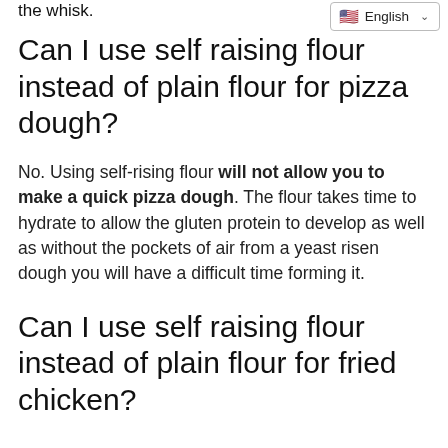the whisk.
[Figure (other): English language selector dropdown with US flag icon]
Can I use self raising flour instead of plain flour for pizza dough?
No. Using self-rising flour will not allow you to make a quick pizza dough. The flour takes time to hydrate to allow the gluten protein to develop as well as without the pockets of air from a yeast risen dough you will have a difficult time forming it.
Can I use self raising flour instead of plain flour for fried chicken?